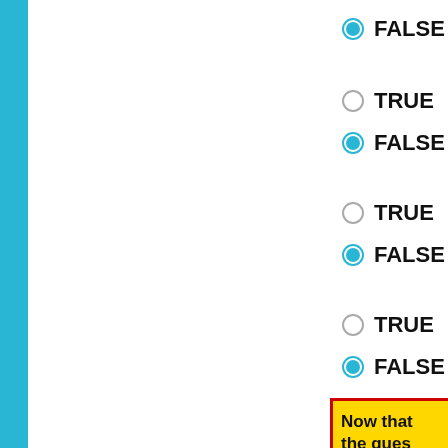● FALSE
○ TRUE
● FALSE
○ TRUE
● FALSE
○ TRUE
● FALSE
Now that the ques Show